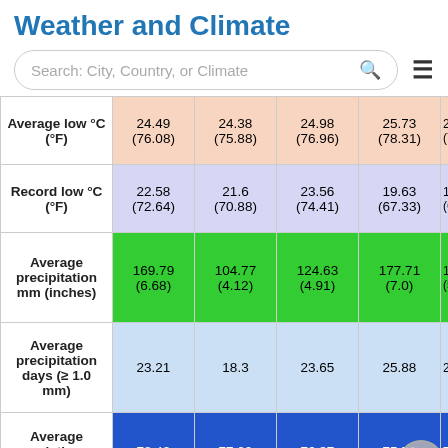Weather and Climate
|  | Col1 | Col2 | Col3 | Col4 | Col5+ |
| --- | --- | --- | --- | --- | --- |
| Average low °C (°F) | 24.49
(76.08) | 24.38
(75.88) | 24.98
(76.96) | 25.73
(78.31) | 2
(7… |
| Record low °C (°F) | 22.58
(72.64) | 21.6
(70.88) | 23.56
(74.41) | 19.63
(67.33) | 1
(6… |
| Average precipitation mm (inches) | 169.79
(6.68) | 104.77
(4.12) | 124.63
(4.91) | 177.71
(7.0) | 15…
(5… |
| Average precipitation days (≥ 1.0 mm) | 23.21 | 18.3 | 23.65 | 25.88 | 2… |
| Average relative humidity (%) | 78.42 | 77.02 | 76.37 | 75.56 | 7… |
| Mean monthly … | 9.82 | 10.11 | 10.54 | 10.36 | 1… |